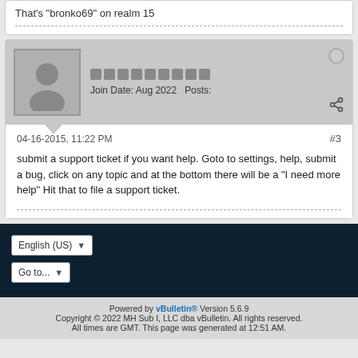That's "bronko69" on realm 15
Join Date: Aug 2022   Posts:
04-16-2015, 11:22 PM
#3
submit a support ticket if you want help. Goto to settings, help, submit a bug, click on any topic and at the bottom there will be a "I need more help" Hit that to file a support ticket.
Powered by vBulletin® Version 5.6.9
Copyright © 2022 MH Sub I, LLC dba vBulletin. All rights reserved.
All times are GMT. This page was generated at 12:51 AM.